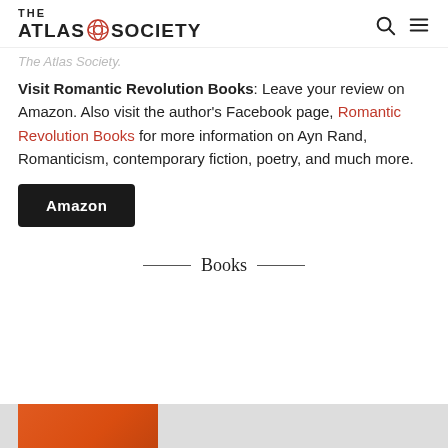THE ATLAS SOCIETY
The Atlas Society.
Visit Romantic Revolution Books: Leave your review on Amazon. Also visit the author's Facebook page, Romantic Revolution Books for more information on Ayn Rand, Romanticism, contemporary fiction, poetry, and much more.
Amazon
Books
[Figure (photo): Partial book cover visible at bottom of page, orange/red color]